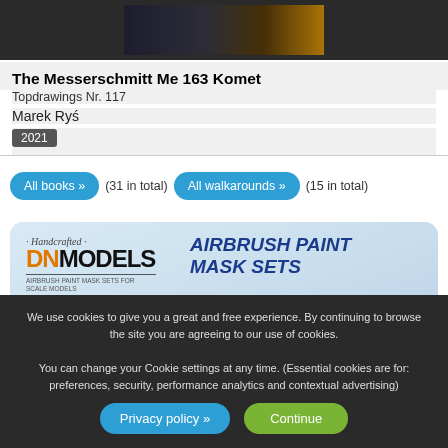[Figure (photo): Partial view of a dark model or book cover image at top]
The Messerschmitt Me 163 Komet
Topdrawings Nr. 117
Marek Ryś
2021
All books » (31 in total)   All walkarounds » (15 in total)
[Figure (illustration): DN Models advertisement banner showing AIRBRUSH PAINT MASK SETS with a camouflage Saab Draken fighter jet illustration]
We use cookies to give you a great and free experience. By continuing to browse the site you are agreeing to our use of cookies. You can change your Cookie settings at any time. (Essential cookies are for: preferences, security, performance analytics and contextual advertising)
Privacy policy »
Continue